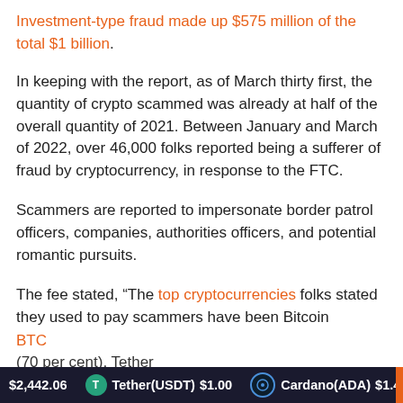Investment-type fraud made up $575 million of the total $1 billion.
In keeping with the report, as of March thirty first, the quantity of crypto scammed was already at half of the overall quantity of 2021. Between January and March of 2022, over 46,000 folks reported being a sufferer of fraud by cryptocurrency, in response to the FTC.
Scammers are reported to impersonate border patrol officers, companies, authorities officers, and potential romantic pursuits.
The fee stated, "The top cryptocurrencies folks stated they used to pay scammers have been Bitcoin
BTC
(70 per cent), Tether
$2,442.06   Tether(USDT) $1.00   Cardano(ADA) $1.47